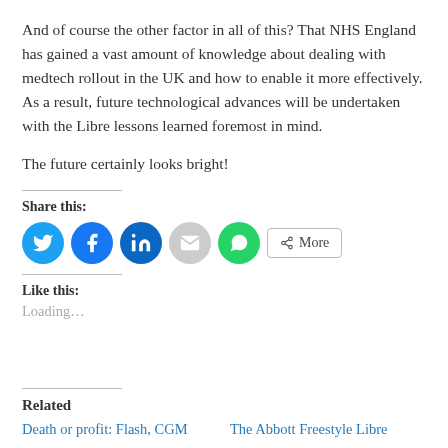And of course the other factor in all of this? That NHS England has gained a vast amount of knowledge about dealing with medtech rollout in the UK and how to enable it more effectively. As a result, future technological advances will be undertaken with the Libre lessons learned foremost in mind.
The future certainly looks bright!
Share this:
[Figure (infographic): Social share buttons: Twitter (blue circle), Facebook (blue circle), LinkedIn (blue circle), Email (grey circle), WhatsApp (green circle), and a More button with share icon]
Like this:
Loading...
Related
Death or profit: Flash, CGM   The Abbott Freestyle Libre